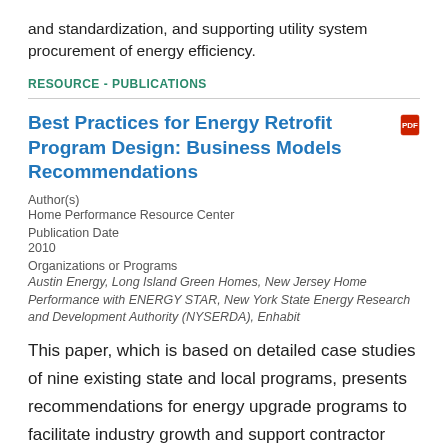and standardization, and supporting utility system procurement of energy efficiency.
RESOURCE - PUBLICATIONS
Best Practices for Energy Retrofit Program Design: Business Models Recommendations
Author(s)
Home Performance Resource Center
Publication Date
2010
Organizations or Programs
Austin Energy, Long Island Green Homes, New Jersey Home Performance with ENERGY STAR, New York State Energy Research and Development Authority (NYSERDA), Enhabit
This paper, which is based on detailed case studies of nine existing state and local programs, presents recommendations for energy upgrade programs to facilitate industry growth and support contractor business models.